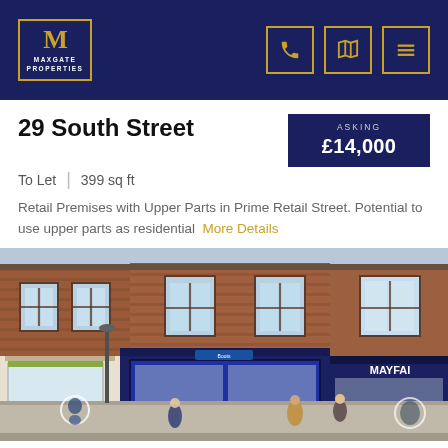MAXGATE PROPERTIES
29 South Street
To Let | 399 sq ft | ASKING £14,000
Retail Premises with Upper Parts in Prime Retail Street. Potential to use upper parts as residential More Details
[Figure (photo): Street-level photograph of 29 South Street showing a row of retail shops on a pedestrianised high street. Brick building with first floor windows, blue shopfront for a pharmacy/health store in the centre, Mayfair estate agents partially visible on the right, pedestrians visible on the pavement.]